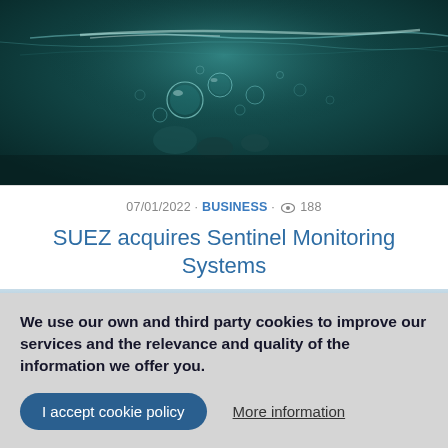[Figure (photo): Underwater photo showing bubbles and light reflections on the surface of dark teal/green water]
07/01/2022 · BUSINESS · 👁 188
SUEZ acquires Sentinel Monitoring Systems
[Figure (photo): Partial view of a second article image showing water or cloudy blue sky]
We use our own and third party cookies to improve our services and the relevance and quality of the information we offer you.
I accept cookie policy
More information